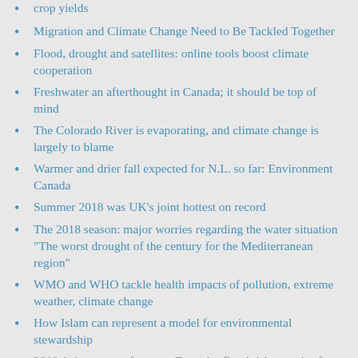crop yields
Migration and Climate Change Need to Be Tackled Together
Flood, drought and satellites: online tools boost climate cooperation
Freshwater an afterthought in Canada; it should be top of mind
The Colorado River is evaporating, and climate change is largely to blame
Warmer and drier fall expected for N.L. so far: Environment Canada
Summer 2018 was UK's joint hottest on record
The 2018 season: major worries regarding the water situation "The worst drought of the century for the Mediterranean region"
WMO and WHO tackle health impacts of pollution, extreme weather, climate change
How Islam can represent a model for environmental stewardship
2018 Asia summer forecast: Drought, flood risks to arise from uneven monsoon; West Pacific may yield strong typhoons
2019 US summer forecast: Evolutionarily the most...